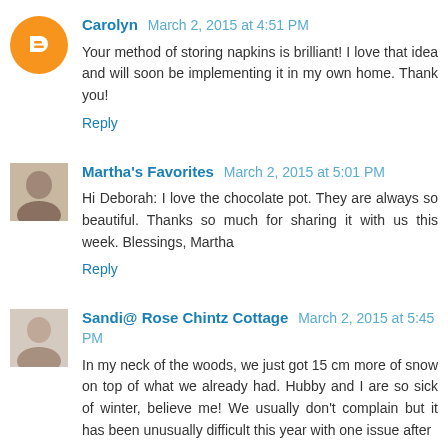Carolyn March 2, 2015 at 4:51 PM
Your method of storing napkins is brilliant! I love that idea and will soon be implementing it in my own home. Thank you!
Reply
Martha's Favorites March 2, 2015 at 5:01 PM
Hi Deborah: I love the chocolate pot. They are always so beautiful. Thanks so much for sharing it with us this week. Blessings, Martha
Reply
Sandi@ Rose Chintz Cottage March 2, 2015 at 5:45 PM
In my neck of the woods, we just got 15 cm more of snow on top of what we already had. Hubby and I are so sick of winter, believe me! We usually don't complain but it has been unusually difficult this year with one issue after